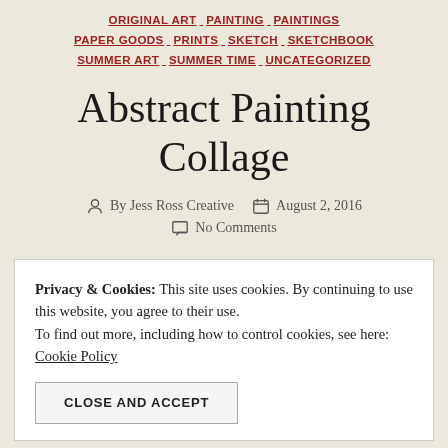ORIGINAL ART  PAINTING  PAINTINGS  PAPER GOODS  PRINTS  SKETCH  SKETCHBOOK  SUMMER ART  SUMMER TIME  UNCATEGORIZED
Abstract Painting Collage
By Jess Ross Creative   August 2, 2016
No Comments
Privacy & Cookies: This site uses cookies. By continuing to use this website, you agree to their use.
To find out more, including how to control cookies, see here: Cookie Policy
CLOSE AND ACCEPT